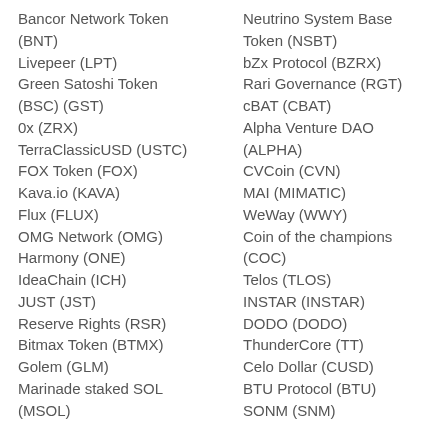Bancor Network Token (BNT)
Livepeer (LPT)
Green Satoshi Token (BSC) (GST)
0x (ZRX)
TerraClassicUSD (USTC)
FOX Token (FOX)
Kava.io (KAVA)
Flux (FLUX)
OMG Network (OMG)
Harmony (ONE)
IdeaChain (ICH)
JUST (JST)
Reserve Rights (RSR)
Bitmax Token (BTMX)
Golem (GLM)
Marinade staked SOL (MSOL)
Neutrino System Base Token (NSBT)
bZx Protocol (BZRX)
Rari Governance (RGT)
cBAT (CBAT)
Alpha Venture DAO (ALPHA)
CVCoin (CVN)
MAI (MIMATIC)
WeWay (WWY)
Coin of the champions (COC)
Telos (TLOS)
INSTAR (INSTAR)
DODO (DODO)
ThunderCore (TT)
Celo Dollar (CUSD)
BTU Protocol (BTU)
SONM (SNM)